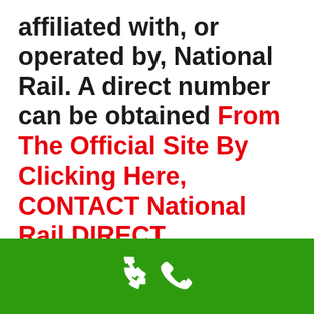affiliated with, or operated by, National Rail. A direct number can be obtained From The Official Site By Clicking Here, CONTACT National Rail DIRECT
[Figure (illustration): Green bar at the bottom of the page with a white telephone handset icon centered within it.]